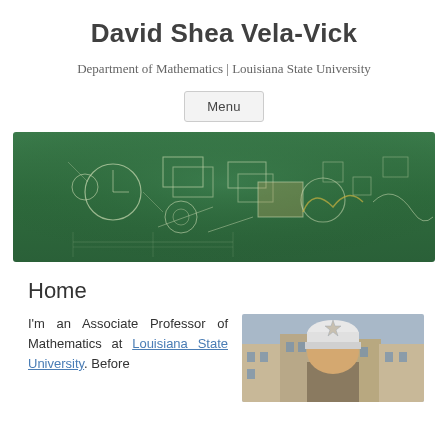David Shea Vela-Vick
Department of Mathematics | Louisiana State University
Menu
[Figure (photo): A green chalkboard covered with mathematical diagrams, geometric shapes, and handwritten chalk drawings including circles, squares, and curved lines.]
Home
I'm an Associate Professor of Mathematics at Louisiana State University. Before
[Figure (photo): A person wearing a white knit hat with a star decoration, photographed outdoors on a street with European-style buildings in the background.]